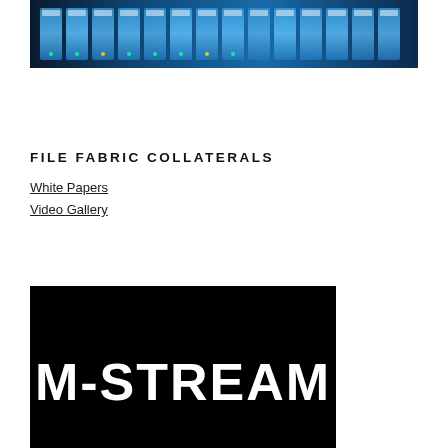[Figure (photo): Blue-lit server rack or storage devices with labels/tape strips in a dark background]
FILE FABRIC COLLATERALS
White Papers
Video Gallery
[Figure (logo): Black background with white bold text reading M-STREAM]